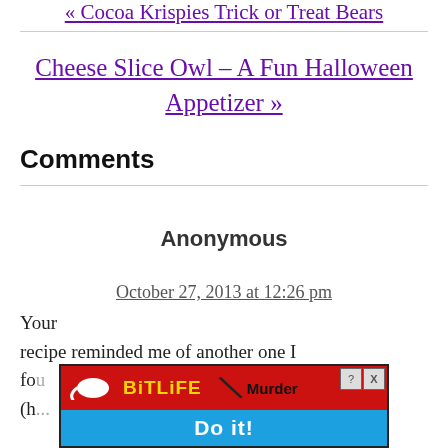« Cocoa Krispies Trick or Treat Bears
Cheese Slice Owl – A Fun Halloween Appetizer »
Comments
Anonymous
October 27, 2013 at 12:26 pm
Your recipe reminded me of another one I fo... (h... 2
[Figure (screenshot): BitLife advertisement banner with red background, showing the BitLife logo with a tadpole icon, the word 'Murder' with a slash, and a blue 'Do it!' button. Has close (X) and help (?) icons.]